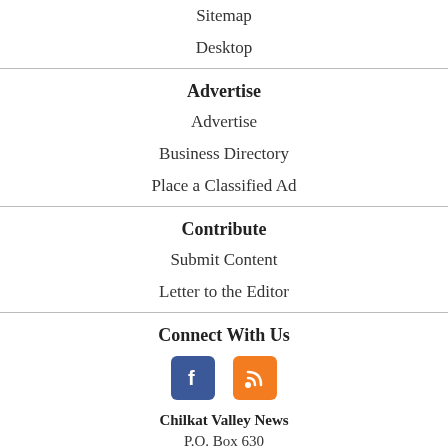Sitemap
Desktop
Advertise
Advertise
Business Directory
Place a Classified Ad
Contribute
Submit Content
Letter to the Editor
Connect With Us
[Figure (illustration): Facebook and RSS feed icons]
Chilkat Valley News
P.O. Box 630
Haines AK 99827